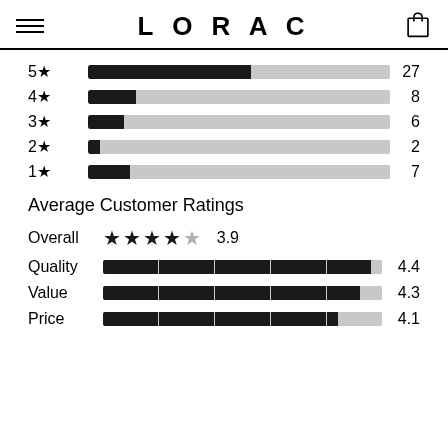LORAC
[Figure (bar-chart): Star rating distribution]
Average Customer Ratings
[Figure (bar-chart): Average Customer Ratings]